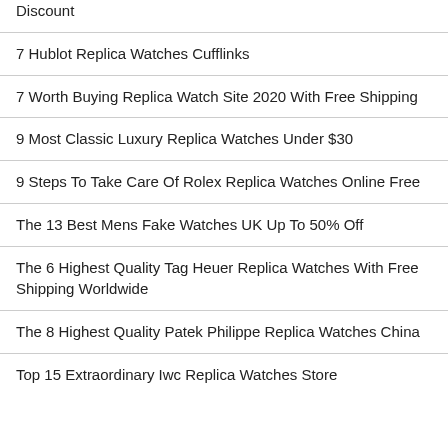Discount
7 Hublot Replica Watches Cufflinks
7 Worth Buying Replica Watch Site 2020 With Free Shipping
9 Most Classic Luxury Replica Watches Under $30
9 Steps To Take Care Of Rolex Replica Watches Online Free
The 13 Best Mens Fake Watches UK Up To 50% Off
The 6 Highest Quality Tag Heuer Replica Watches With Free Shipping Worldwide
The 8 Highest Quality Patek Philippe Replica Watches China
Top 15 Extraordinary Iwc Replica Watches Store